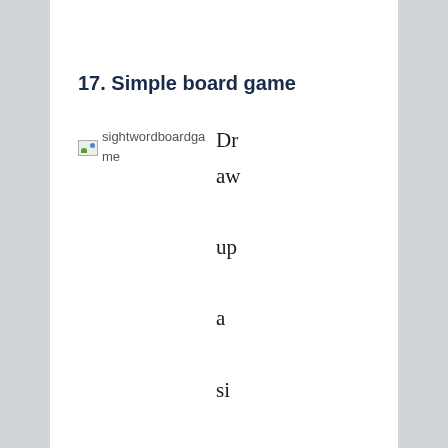17. Simple board game
[Figure (illustration): Broken image placeholder for 'sightwordboardgame']
Draw up a simple board game that has circles or squares for a